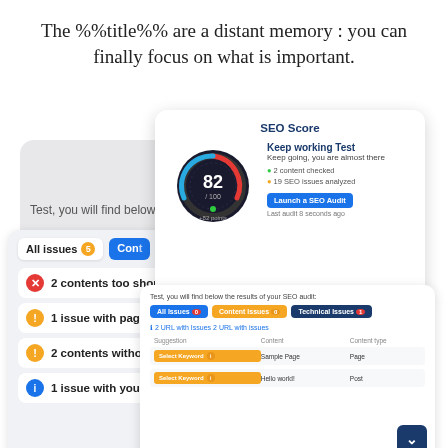The %%title%% are a distant memory : you can finally focus on what is important.
[Figure (screenshot): Composite screenshot showing an SEO Score card with score 82/100, an All Issues panel with items like '2 contents too short', '1 issue with pagination', '2 contents without enough', '1 issue with your theme', and an SEO audit results table.]